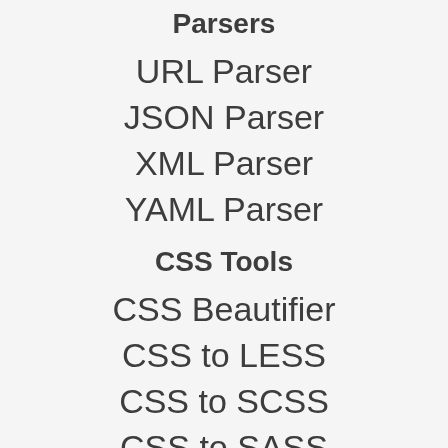Parsers
URL Parser
JSON Parser
XML Parser
YAML Parser
CSS Tools
CSS Beautifier
CSS to LESS
CSS to SCSS
CSS to SASS
CSS to Stylus